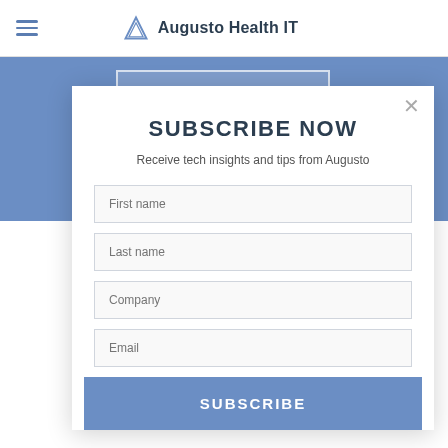Augusto Health IT
[Figure (screenshot): Website screenshot showing a subscription modal popup over a blue banner background. The modal contains the heading SUBSCRIBE NOW, subtitle text, four input fields (First name, Last name, Company, Email), and a SUBSCRIBE button.]
SUBSCRIBE NOW
Receive tech insights and tips from Augusto
First name
Last name
Company
Email
SUBSCRIBE